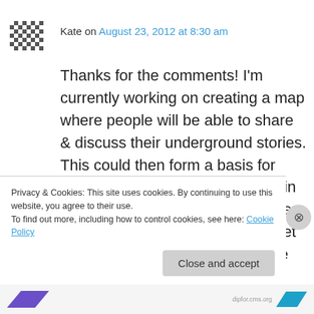Kate on August 23, 2012 at 8:30 am
Thanks for the comments! I'm currently working on creating a map where people will be able to share & discuss their underground stories. This could then form a basis for further research of the stories or in the cases of cellars, we might even persuade some of the places to let people in to have a look.......More information to follow shortly but if you would contribute to that as well that would be fantastic!
Privacy & Cookies: This site uses cookies. By continuing to use this website, you agree to their use.
To find out more, including how to control cookies, see here: Cookie Policy
Close and accept